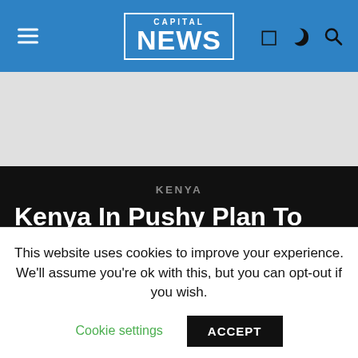CAPITAL NEWS
[Figure (screenshot): Grey advertisement banner area]
KENYA
Kenya In Pushy Plan To Ease Hunger
By
Published  August 18, 2009
This website uses cookies to improve your experience. We'll assume you're ok with this, but you can opt-out if you wish.
Cookie settings    ACCEPT